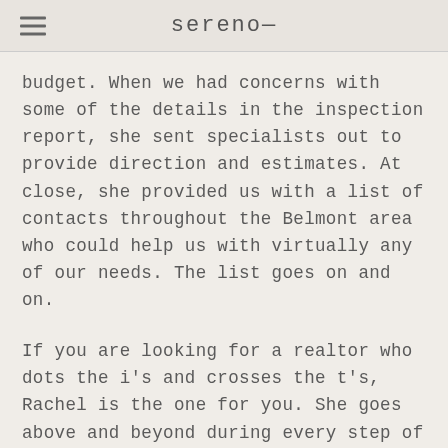sereno—
budget. When we had concerns with some of the details in the inspection report, she sent specialists out to provide direction and estimates. At close, she provided us with a list of contacts throughout the Belmont area who could help us with virtually any of our needs. The list goes on and on.
If you are looking for a realtor who dots the i's and crosses the t's, Rachel is the one for you. She goes above and beyond during every step of the process. If we sell or buy again, we will without a doubt be